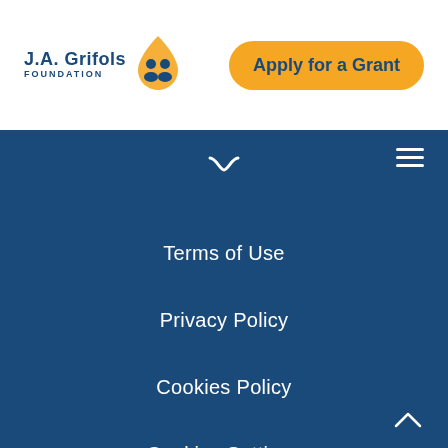[Figure (logo): J.A. Grifols Foundation logo with text and droplet/people icon in blue and orange]
Apply for a Grant
[Figure (other): Hamburger menu icon (three horizontal white lines) on dark blue background]
Terms of Use
Privacy Policy
Cookies Policy
Cookies Settings